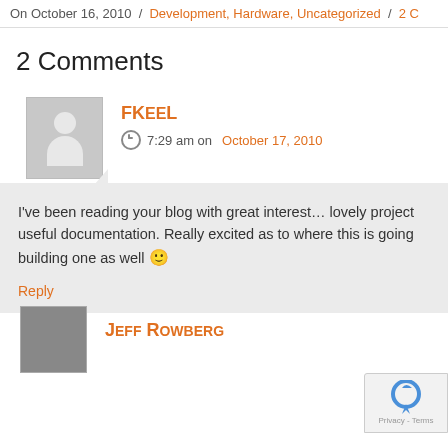On October 16, 2010 / Development, Hardware, Uncategorized / 2 C…
2 Comments
FKeeL
7:29 am on October 17, 2010
I've been reading your blog with great interest… lovely project useful documentation. Really excited as to where this is going building one as well 🙂
Reply
Jeff Rowberg